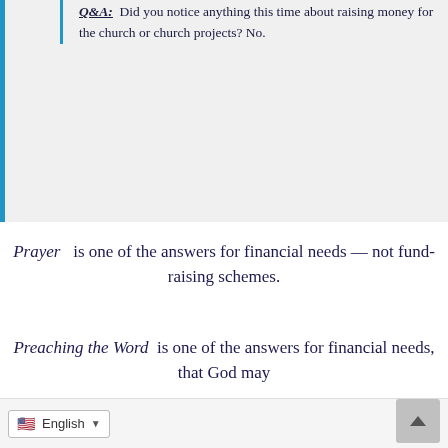Q&A: Did you notice anything this time about raising money for the church or church projects? No.
Prayer is one of the answers for financial needs — not fund-raising schemes.
Preaching the Word is one of the answers for financial needs, that God may
stir hearts to give and lay up treasure in heaven, instead of treasure upon earth.